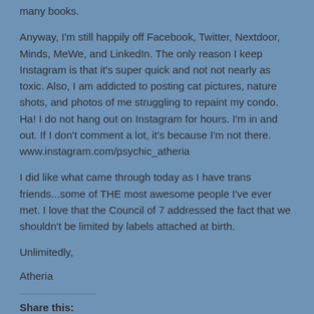many books.
Anyway, I'm still happily off Facebook, Twitter, Nextdoor, Minds, MeWe, and LinkedIn. The only reason I keep Instagram is that it's super quick and not not nearly as toxic. Also, I am addicted to posting cat pictures, nature shots, and photos of me struggling to repaint my condo. Ha! I do not hang out on Instagram for hours. I'm in and out. If I don't comment a lot, it's because I'm not there. www.instagram.com/psychic_atheria
I did like what came through today as I have trans friends...some of THE most awesome people I've ever met. I love that the Council of 7 addressed the fact that we shouldn't be limited by labels attached at birth.
Unlimitedly,
Atheria
Share this:
Twitter  Facebook